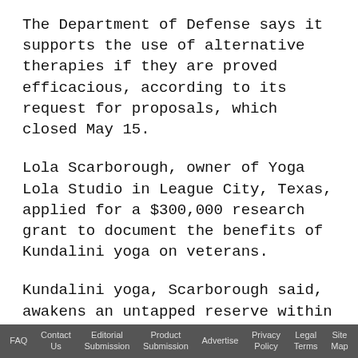The Department of Defense says it supports the use of alternative therapies if they are proved efficacious, according to its request for proposals, which closed May 15.
Lola Scarborough, owner of Yoga Lola Studio in League City, Texas, applied for a $300,000 research grant to document the benefits of Kundalini yoga on veterans.
Kundalini yoga, Scarborough said, awakens an untapped reserve within each of us - envisioned as a sleeping serpent in the base of the spine, whose power can help veterans deal with anger, flashbacks, depression and anxiety symptoms.
FAQ   Contact Us   Editorial Submission   Product Submission   Advertise   Privacy Policy   Legal Terms   Site Map